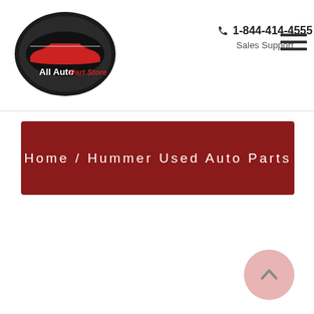[Figure (logo): All Auto Part Store oval logo with stylized car silhouette, black and red color scheme]
1-844-414-4555
Sales Support
[Figure (other): Hamburger menu icon (three horizontal lines)]
Home / Hummer Used Auto Parts
[Figure (other): Back to top button - pink circle with upward chevron arrow]